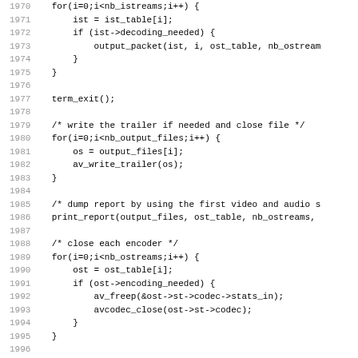Source code listing, lines 1970-2002, showing C code for media stream processing including loops for closing encoders and decoders, writing trailer, and dumping report.